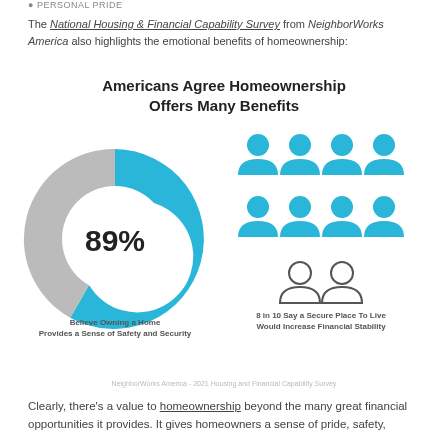Personal Pride
The National Housing & Financial Capability Survey from NeighborWorks America also highlights the emotional benefits of homeownership:
[Figure (donut-chart): Donut chart showing 89% believe owning a home provides a sense of safety and security, alongside icons showing 8 in 10 say a secure place to live would increase financial stability]
NeighborWorks America - 2021 Housing and Financial Capability Survey
Clearly, there’s a value to homeownership beyond the many great financial opportunities it provides. It gives homeowners a sense of pride, safety,